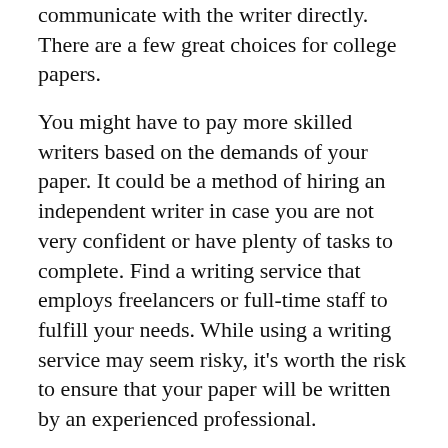communicate with the writer directly. There are a few great choices for college papers.
You might have to pay more skilled writers based on the demands of your paper. It could be a method of hiring an independent writer in case you are not very confident or have plenty of tasks to complete. Find a writing service that employs freelancers or full-time staff to fulfill your needs. While using a writing service may seem risky, it's worth the risk to ensure that your paper will be written by an experienced professional.
Check out customer reviews before you decide on a writing service. It's likely that you'll be amazed by the number of satisfied clients MasterPapers have served. There is a direct way to contact the writer via the service, which can increase collaboration. You can also view the examples of work provided by the provider before you decide. It is possible to trust the writing services to get